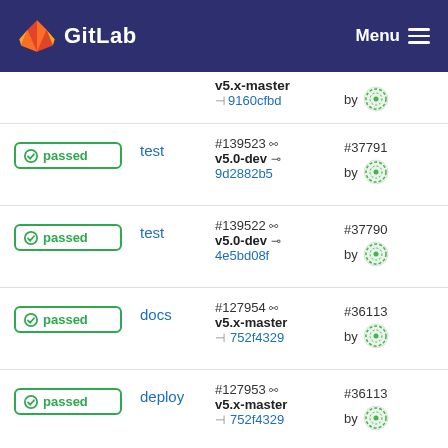GitLab
passed | docs | #139525 v5.x-master 9160cfbd | #37791 by user
passed | test | #139523 v5.0-dev 9d2882b5 | #37791 by user
passed | test | #139522 v5.0-dev 4e5bd08f | #37790 by user
passed | docs | #127954 v5.x-master 752f4329 | #36113 by user
passed | deploy | #127953 v5.x-master 752f4329 | #36113 by user
passed | build | #127952 | #36113